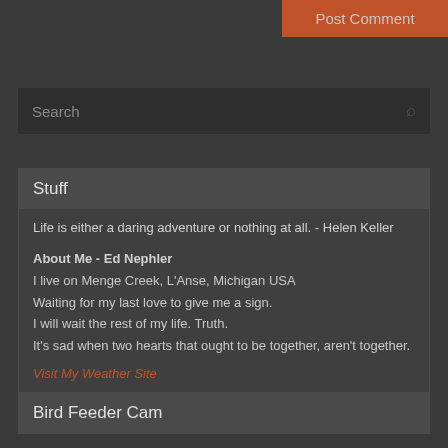Post Comment
Search
Stuff
Life is either a daring adventure or nothing at all. - Helen Keller
About Me - Ed Nephler
I live on Menge Creek, L'Anse, Michigan USA
Waiting for my last love to give me a sign.
I will wait the rest of my life. Truth.
It's sad when two hearts that ought to be together, aren't together.
Visit My Weather Site
Bird Feeder Cam